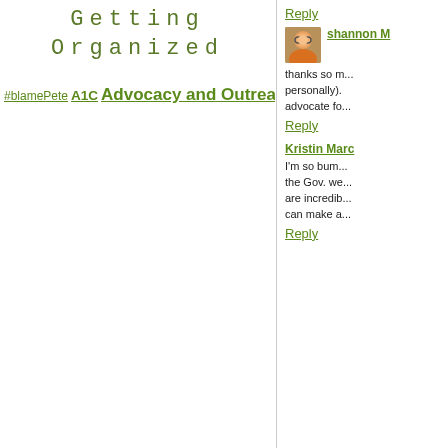Getting Organized
#blamePete A1C Advocacy and Outreach Almost Wordless Background Bitter~Sweet Chips Blog Carnival Blood Sugar Blue Friday Burnout CGM Charlie Contest D-Feast Friday D-OC pals Depression Diabetes Blog Week Diabetes Guilt DiabetesSisters Diaversary Disclosure dsma Events Exercise Eyes Feedback Fld County D-Dinners Food Fundraising Guest Post Highs and Lows Highs Suck Holidays Infusion Sets Inspirations Insulin Pump Insurance JDRF Just being silly
Reply
[Figure (photo): Small avatar photo of a person in an orange jacket wearing glasses]
shannon M
thanks so m... personally). ...advocate fo...
Reply
Kristin Marc
I'm so bum... the Gov. we... are incredib... can make a...
Reply